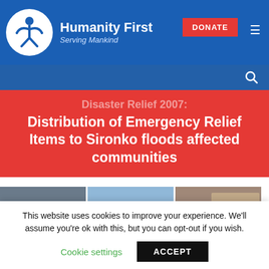Humanity First – Serving Mankind
Disaster Relief 2007: Distribution of Emergency Relief Items to Sironko floods affected communities
[Figure (photo): Three photos showing relief distribution activities: group of people with Humanity First banner, workers on a truck, and people with roofing sheets]
This website uses cookies to improve your experience. We'll assume you're ok with this, but you can opt-out if you wish.
Cookie settings   ACCEPT